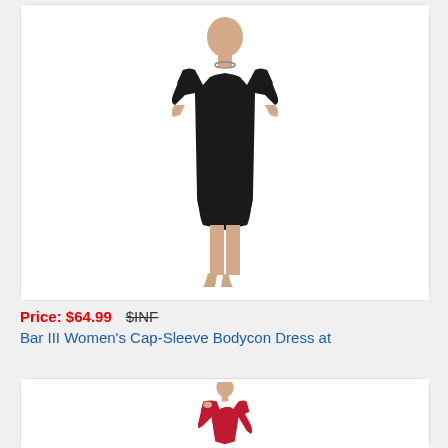[Figure (photo): Woman wearing a black cap-sleeve bodycon dress, standing against white background]
Price: $64.99   $INF
Bar III Women's Cap-Sleeve Bodycon Dress at
[Figure (photo): Woman wearing a red cold-shoulder long-sleeve bodycon dress, standing against white background]